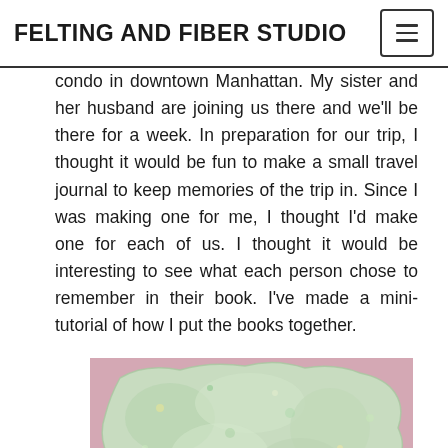FELTING AND FIBER STUDIO
condo in downtown Manhattan. My sister and her husband are joining us there and we'll be there for a week. In preparation for our trip, I thought it would be fun to make a small travel journal to keep memories of the trip in. Since I was making one for me, I thought I'd make one for each of us. I thought it would be interesting to see what each person chose to remember in their book. I've made a mini-tutorial of how I put the books together.
[Figure (photo): A piece of green and white felted fabric with irregular torn edges, placed on a pink background. The felt has a mottled texture with small flecks of color.]